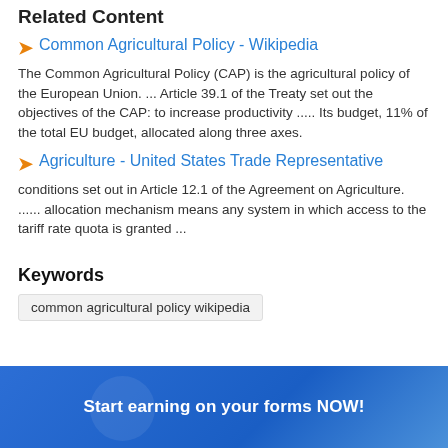Related Content
Common Agricultural Policy - Wikipedia
The Common Agricultural Policy (CAP) is the agricultural policy of the European Union. ... Article 39.1 of the Treaty set out the objectives of the CAP: to increase productivity ..... Its budget, 11% of the total EU budget, allocated along three axes.
Agriculture - United States Trade Representative
conditions set out in Article 12.1 of the Agreement on Agriculture. ...... allocation mechanism means any system in which access to the tariff rate quota is granted ...
Keywords
common agricultural policy wikipedia
Start earning on your forms NOW!